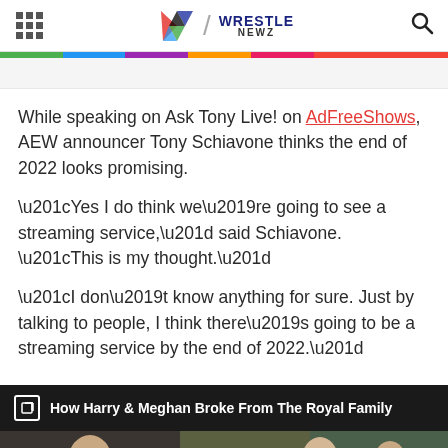WrestleNewz
While speaking on Ask Tony Live! on AdFreeShows, AEW announcer Tony Schiavone thinks the end of 2022 looks promising.
“Yes I do think we’re going to see a streaming service,” said Schiavone. “This is my thought.”
“I don’t know anything for sure. Just by talking to people, I think there’s going to be a streaming service by the end of 2022.”
[Figure (screenshot): Dark promo banner with text: How Harry & Meghan Broke From The Royal Family, followed by a photo strip showing people outdoors.]